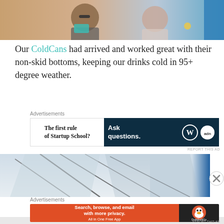[Figure (photo): Cropped photo of people on a boat, smiling, wearing sunglasses and athletic wear]
Our ColdCans had arrived and worked great with their non-skid bottoms, keeping our drinks cold in 95+ degree weather.
Advertisements
[Figure (other): Advertisement banner: left side reads 'The first rule of Startup School?', right side dark navy with 'Ask questions.' and WordPress/other logos]
REPORT THIS AD
[Figure (photo): Partial photo of boat rigging and sails against sky]
Advertisements
[Figure (other): DuckDuckGo advertisement: orange section with 'Search, browse, and email with more privacy. All in One Free App', dark section with DuckDuckGo logo]
REPORT THIS AD